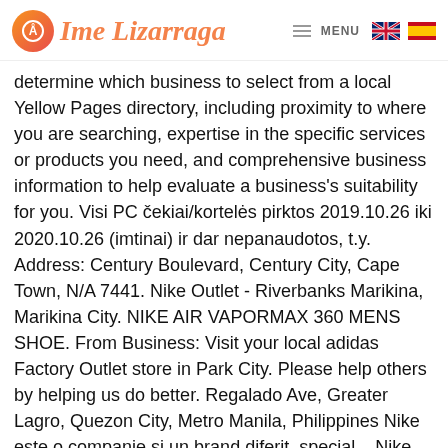Ime Lizarraga — MENU [EN] [ES]
determine which business to select from a local Yellow Pages directory, including proximity to where you are searching, expertise in the specific services or products you need, and comprehensive business information to help evaluate a business's suitability for you. Visi PC čekiai/kortelės pirktos 2019.10.26 iki 2020.10.26 (imtinai) ir dar nepanaudotos, t.y. Address: Century Boulevard, Century City, Cape Town, N/A 7441. Nike Outlet - Riverbanks Marikina, Marikina City. NIKE AIR VAPORMAX 360 MENS SHOE. From Business: Visit your local adidas Factory Outlet store in Park City. Please help others by helping us do better. Regalado Ave, Greater Lagro, Quezon City, Metro Manila, Philippines Nike este o companie și un brand diferit, special – Nike are nu numai o istorie, ci o moștenire. Nike Factory Store store or outlet store located in Park City, Utah - Outlet Park City location, address: 6699 North Landmark Dr., Park City, Utah - UT 84098. Driving directions and locations to store: Nike Factory Store located